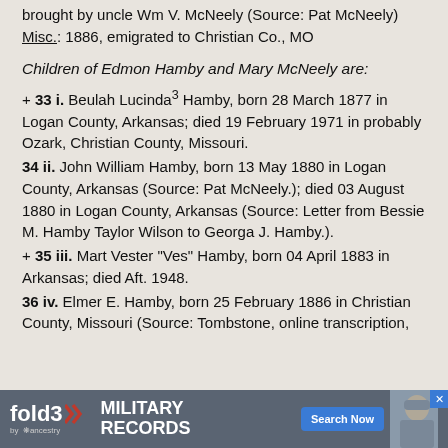brought by uncle Wm V. McNeely (Source: Pat McNeely) Misc.: 1886, emigrated to Christian Co., MO
Children of Edmon Hamby and Mary McNeely are:
+ 33 i. Beulah Lucinda³ Hamby, born 28 March 1877 in Logan County, Arkansas; died 19 February 1971 in probably Ozark, Christian County, Missouri.
34 ii. John William Hamby, born 13 May 1880 in Logan County, Arkansas (Source: Pat McNeely.); died 03 August 1880 in Logan County, Arkansas (Source: Letter from Bessie M. Hamby Taylor Wilson to Georga J. Hamby.).
+ 35 iii. Mart Vester "Ves" Hamby, born 04 April 1883 in Arkansas; died Aft. 1948.
36 iv. Elmer E. Hamby, born 25 February 1886 in Christian County, Missouri (Source: Tombstone, online transcription,
[Figure (infographic): fold3 by Ancestry advertisement banner for Military Records with Search Now button]